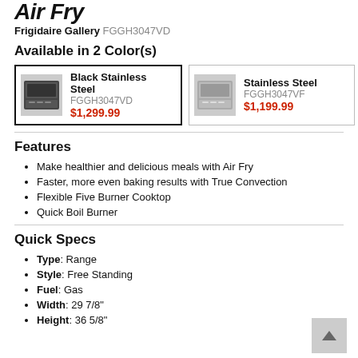Air Fry
Frigidaire Gallery FGGH3047VD
Available in 2 Color(s)
| Image | Color | Model | Price |
| --- | --- | --- | --- |
| [image] | Black Stainless Steel | FGGH3047VD | $1,299.99 |
| [image] | Stainless Steel | FGGH3047VF | $1,199.99 |
Features
Make healthier and delicious meals with Air Fry
Faster, more even baking results with True Convection
Flexible Five Burner Cooktop
Quick Boil Burner
Quick Specs
Type: Range
Style: Free Standing
Fuel: Gas
Width: 29 7/8"
Height: 36 5/8"